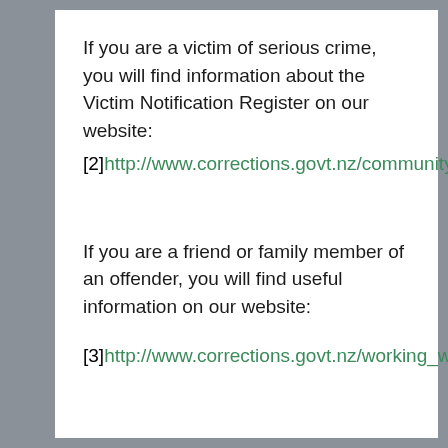If you are a victim of serious crime, you will find information about the Victim Notification Register on our website:
[2]http://www.corrections.govt.nz/community...
If you are a friend or family member of an offender, you will find useful information on our website:
[3]http://www.corrections.govt.nz/working_w...